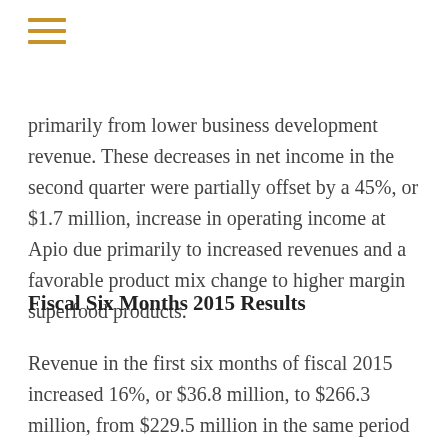[Figure (other): Hamburger menu icon with three horizontal orange/golden bars]
primarily from lower business development revenue. These decreases in net income in the second quarter were partially offset by a 45%, or $1.7 million, increase in operating income at Apio due primarily to increased revenues and a favorable product mix change to higher margin superfood products.
Fiscal Six Months 2015 Results
Revenue in the first six months of fiscal 2015 increased 16%, or $36.8 million, to $266.3 million, from $229.5 million in the same period last year. The improvement was primarily due to a